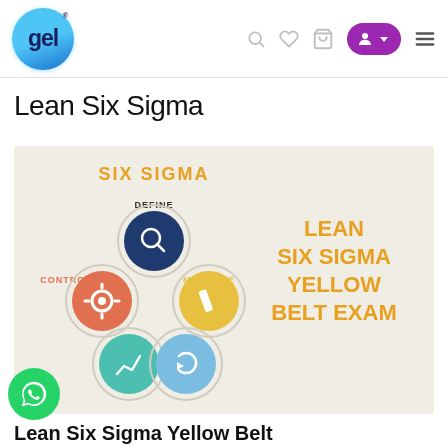gel logo and navigation bar
Lean Six Sigma
[Figure (infographic): Six Sigma infographic showing five interconnected circles labeled Define (top, dark blue with magnifying glass), Control (left, orange with gear), Measure (right, yellow with pencil), Improve (bottom-left, teal with chart), Analyze (bottom-right, light blue with refresh arrow). Right side shows large bold orange text: LEAN SIX SIGMA YELLOW BELT EXAM. Top center text: SIX SIGMA.]
Lean Six Sigma Yellow Belt